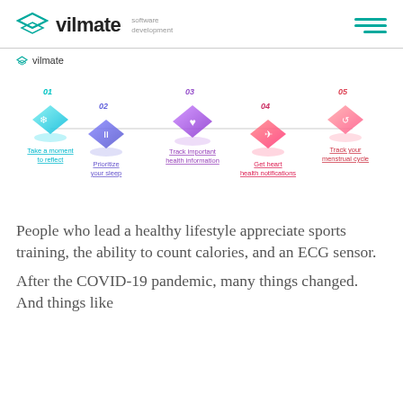vilmate software development
[Figure (infographic): Vilmate branded infographic showing 5 steps in a chain: 01 Take a moment to reflect, 02 Prioritize your sleep, 03 Track important health information, 04 Get heart health notifications, 05 Track your menstrual cycle]
People who lead a healthy lifestyle appreciate sports training, the ability to count calories, and an ECG sensor.
After the COVID-19 pandemic, many things changed. And things like